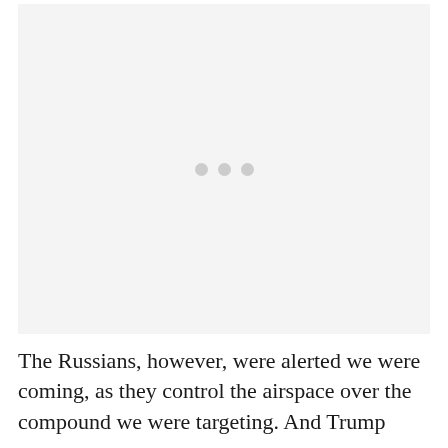[Figure (photo): A loading placeholder image area with three gray dots centered, indicating an image that has not yet loaded.]
The Russians, however, were alerted we were coming, as they control the airspace over the compound we were targeting. And Trump